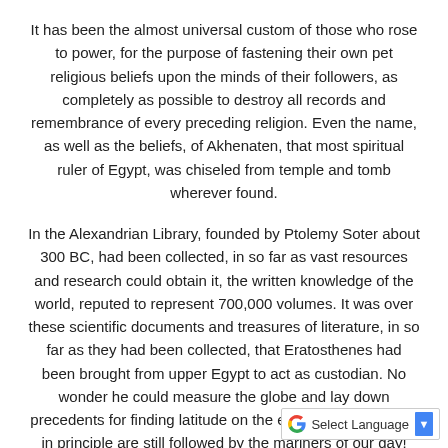It has been the almost universal custom of those who rose to power, for the purpose of fastening their own pet religious beliefs upon the minds of their followers, as completely as possible to destroy all records and remembrance of every preceding religion. Even the name, as well as the beliefs, of Akhenaten, that most spiritual ruler of Egypt, was chiseled from temple and tomb wherever found.
In the Alexandrian Library, founded by Ptolemy Soter about 300 BC, had been collected, in so far as vast resources and research could obtain it, the written knowledge of the world, reputed to represent 700,000 volumes. It was over these scientific documents and treasures of literature, in so far as they had been collected, that Eratosthenes had been brought from upper Egypt to act as custodian. No wonder he could measure the globe and lay down precedents for finding latitude on the earth's surface which in principle are still followed by the mariners of our day!
[Figure (other): Google Translate 'Select Language' dropdown widget with Google G logo and a blue dropdown arrow button]